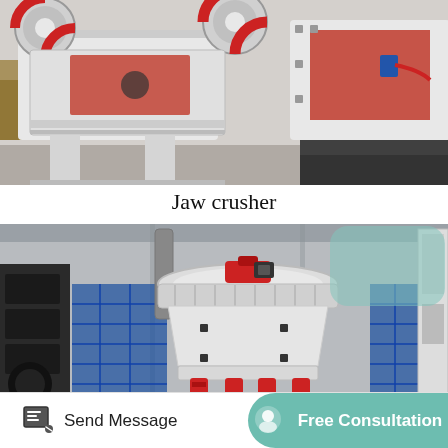[Figure (photo): Industrial jaw crusher machines in a factory/warehouse setting. Two large white and red jaw crushers side by side on a factory floor.]
Jaw crusher
[Figure (photo): Large white cone crusher with red hydraulic cylinders and blue safety fencing in an industrial facility.]
Send Message
Free Consultation